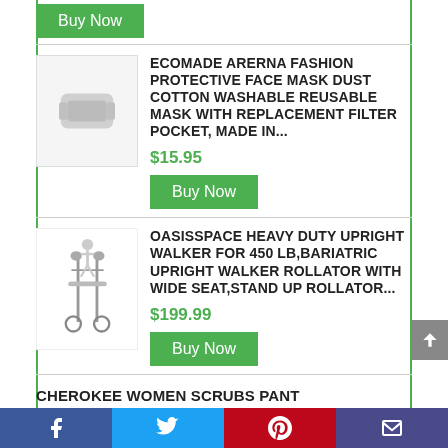[Figure (other): Green Buy Now button (partially visible at top)]
ECOMADE ARERNA FASHION PROTECTIVE FACE MASK DUST COTTON WASHABLE REUSABLE MASK WITH REPLACEMENT FILTER POCKET, MADE IN...
$15.95
[Figure (other): Buy Now green button]
[Figure (photo): Product image of OasisSpace heavy duty upright walker/rollator]
OASISSPACE HEAVY DUTY UPRIGHT WALKER FOR 450 LB,BARIATRIC UPRIGHT WALKER ROLLATOR WITH WIDE SEAT,STAND UP ROLLATOR...
$199.99
[Figure (other): Buy Now green button]
CHEROKEE WOMEN SCRUBS PANT
[Figure (other): Social sharing bar with Facebook, Twitter, Pinterest, and Email buttons]